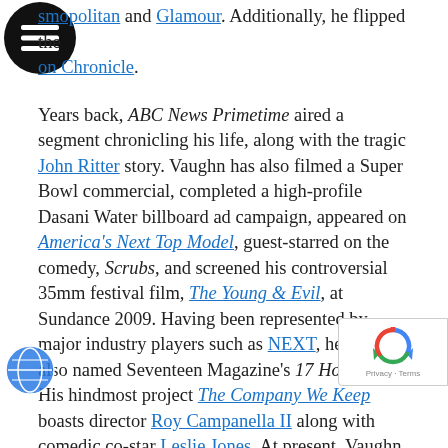smopolitan and Glamour. Additionally, he flipped the on Chronicle.
Years back, ABC News Primetime aired a segment chronicling his life, along with the tragic John Ritter story. Vaughn has also filmed a Super Bowl commercial, completed a high-profile Dasani Water billboard ad campaign, appeared on America's Next Top Model, guest-starred on the comedy, Scrubs, and screened his controversial 35mm festival film, The Young & Evil, at Sundance 2009. Having been represented by major industry players such as NEXT, he was also named Seventeen Magazine's 17 Hot Guys. His hindmost project The Company We Keep boasts director Roy Campanella II along with comedic co-star Leslie Jones. At present, Vaughn wrote a short, Chasen Life, which won a writing competition. He adapted audiobook Say Uncle feature-length film, pitched a reality series and is in the process of architecting an immersive design experience